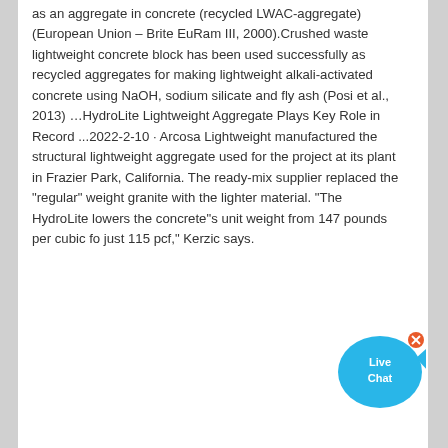as an aggregate in concrete (recycled LWAC-aggregate) (European Union – Brite EuRam III, 2000).Crushed waste lightweight concrete block has been used successfully as recycled aggregates for making lightweight alkali-activated concrete using NaOH, sodium silicate and fly ash (Posi et al., 2013) …HydroLite Lightweight Aggregate Plays Key Role in Record ...2022-2-10 · Arcosa Lightweight manufactured the structural lightweight aggregate used for the project at its plant in Frazier Park, California. The ready-mix supplier replaced the "regular" weight granite with the lighter material. "The HydroLite lowers the concrete"s unit weight from 147 pounds per cubic fo just 115 pcf," Kerzic says.
[Figure (other): Live Chat button overlay — blue speech bubble with fish shape and text 'Live Chat' in white, with an X close button]
[Figure (other): Orange 'Get Quote' button]
[Figure (photo): Construction site photo showing heavy machinery and a building structure under construction or demolition against a light sky]